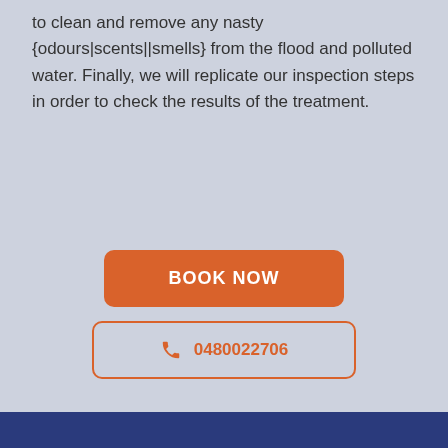to clean and remove any nasty {odours|scents||smells} from the flood and polluted water. Finally, we will replicate our inspection steps in order to check the results of the treatment.
[Figure (other): Two call-to-action buttons: an orange rounded 'BOOK NOW' button and a bordered orange phone button showing '0480022706' with a phone icon]